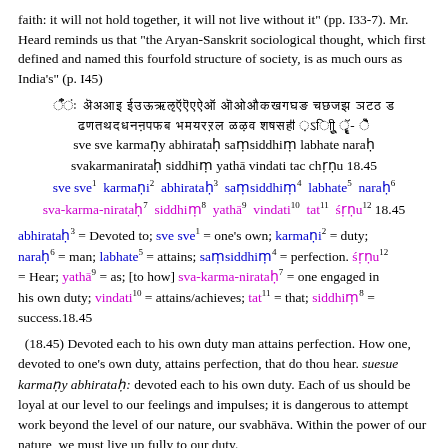faith: it will not hold together, it will not live without it" (pp. I33-7). Mr. Heard reminds us that "the Aryan-Sanskrit sociological thought, which first defined and named this fourfold structure of society, is as much ours as India's" (p. I45)
[Sanskrit script lines 1-2]
sve sve karmany abhiratah samsiddhim labhate narah
svakarmaniratah siddhim yatha vindati tac chrnu 18.45
sve sve^1 karmani^2 abhiratah^3 samsiddhim^4 labhate^5 narah^6 sva-karma-niratah^7 siddhim^8 yatha^9 vindati^10 tat^11 srnu^12 18.45
abhiratah^3 = Devoted to; sve sve^1 = one's own; karmani^2 = duty; narah^6 = man; labhate^5 = attains; samsiddhim^4 = perfection. srnu^12 = Hear; yatha^9 = as; [to how] sva-karma-niratah^7 = one engaged in his own duty; vindati^10 = attains/achieves; tat^11 = that; siddhim^8 = success.18.45
(18.45) Devoted each to his own duty man attains perfection. How one, devoted to one's own duty, attains perfection, that do thou hear. suesue karmany abhiratah: devoted each to his own duty. Each of us should be loyal at our level to our feelings and impulses; it is dangerous to attempt work beyond the level of our nature, our svabhava. Within the power of our nature, we must live up fully to our duty.